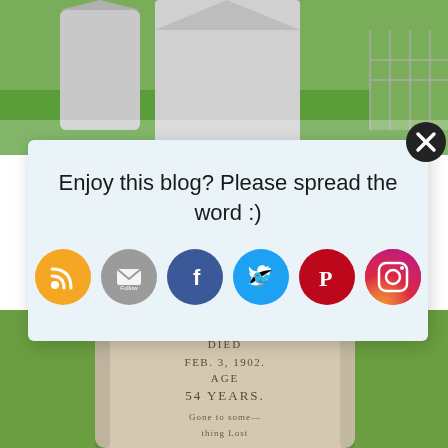[Figure (photo): Top portion: gravestones in a green cemetery with chain-link fence in background]
Enjoy this blog? Please spread the word :)
[Figure (infographic): Row of social media icons: RSS (orange), Email/Follow (gray), Facebook (blue), Twitter (light blue), Pinterest (red), Instagram (gradient red-purple)]
[Figure (photo): Close-up gravestone inscription: DIED FEB. 3, 1902. AGE 54 YEARS. Gone to some- [thing] Lost [remaining text cut off]]